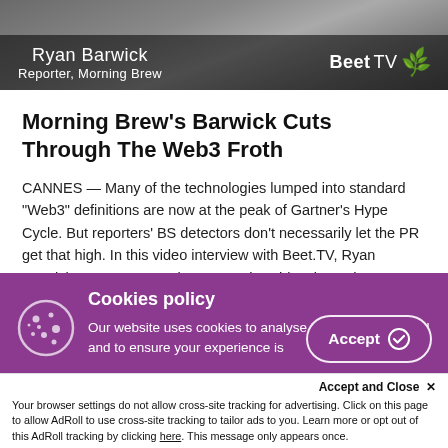[Figure (screenshot): Video thumbnail with Ryan Barwick, Reporter, Morning Brew, and BeetTV logo overlay on dark background]
Morning Brew's Barwick Cuts Through The Web3 Froth
CANNES — Many of the technologies lumped into standard "Web3" definitions are now at the peak of Gartner's Hype Cycle. But reporters' BS detectors don't necessarily let the PR get that high. In this video interview with Beet.TV, Ryan Barwick, Reporter, Morning Brew, gives his take on how interesting Web3 tech really is. Early innings
Cookies policy
Our website uses cookies to analyse how the site is used and to ensure your experience is
Accept and Close ✕
Your browser settings do not allow cross-site tracking for advertising. Click on this page to allow AdRoll to use cross-site tracking to tailor ads to you. Learn more or opt out of this AdRoll tracking by clicking here. This message only appears once.